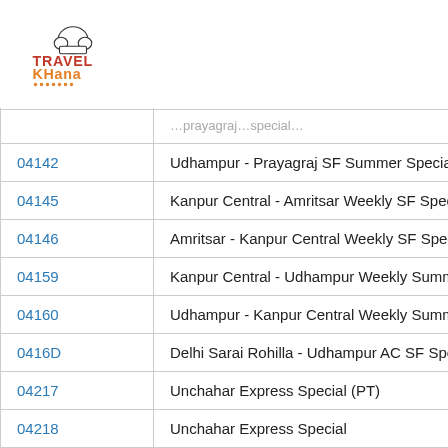[Figure (logo): TravelKhana logo with chef hat icon. 'TRAVEL' in red bold text, 'KHana' in orange bold text, decorative dots underline.]
| Train Number | Train Name |
| --- | --- |
|  | (truncated top row) |
| 04142 | Udhampur - Prayagraj SF Summer Special |
| 04145 | Kanpur Central - Amritsar Weekly SF Speci… |
| 04146 | Amritsar - Kanpur Central Weekly SF Speci… |
| 04159 | Kanpur Central - Udhampur Weekly Summe… |
| 04160 | Udhampur - Kanpur Central Weekly Summe… |
| 0416D | Delhi Sarai Rohilla - Udhampur AC SF Spec… |
| 04217 | Unchahar Express Special (PT) |
| 04218 | Unchahar Express Special |
| 0427 | Madurai - Chandigarh SF Special |
| 0428… | Chandigarh - Madurai SF Special… |